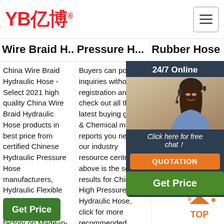YB亿博® [hamburger menu]
Wire Braid H...
Pressure H...
Rubber Hose
China Wire Braid Hydraulic Hose - Select 2021 high quality China Wire Braid Hydraulic Hose products in best price from certified Chinese Hydraulic Pressure Hose manufacturers, Hydraulic Flexible Hose suppliers, wholesalers and factory on Made-in-China.com
Buyers can post inquiries without registration and check out all the latest buying guide & Chemical market reports you need in our industry resource center. The above is the search results for Chinese High Pressure Hydraulic Hose, click for more recommended manufacturers & suppliers listings such as hydraulic hose, rubber hose, flexible hose
... 2021 11u... Wire Hydraulic Hyd... SAE EN... 1SN... 857...
24/7 Online
Click here for free chat！
QUOTATION
Get Price
Get Price
[Figure (photo): Customer service woman with headset smiling]
[Figure (infographic): TOP scroll-to-top icon with orange dots]